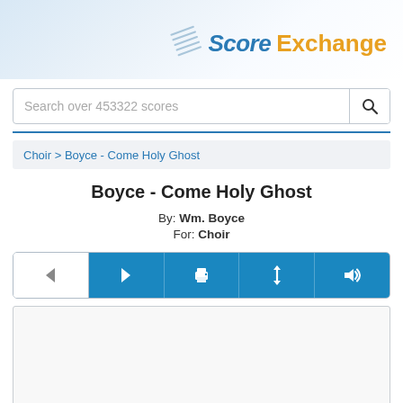Score Exchange
Search over 453322 scores
Choir > Boyce - Come Holy Ghost
Boyce - Come Holy Ghost
By: Wm. Boyce
For: Choir
[Figure (screenshot): Navigation toolbar with previous, next, print, resize, and audio buttons]
[Figure (screenshot): Score preview area (white/blank sheet music preview box)]